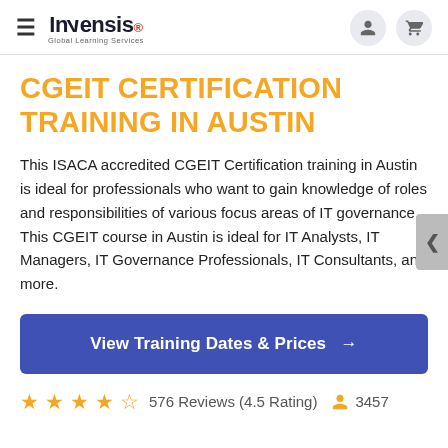Invensis Global Learning Services
CGEIT CERTIFICATION TRAINING IN AUSTIN
This ISACA accredited CGEIT Certification training in Austin is ideal for professionals who want to gain knowledge of roles and responsibilities of various focus areas of IT governance. This CGEIT course in Austin is ideal for IT Analysts, IT Managers, IT Governance Professionals, IT Consultants, and more.
View Training Dates & Prices →
576 Reviews (4.5 Rating)  3457